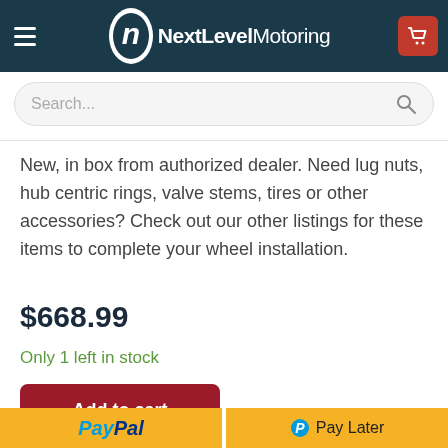Next Level Motoring
New, in box from authorized dealer. Need lug nuts, hub centric rings, valve stems, tires or other accessories? Check out our other listings for these items to complete your wheel installation.
$668.99
Only 1 left in stock
Add to cart
PayPal   Pay Later